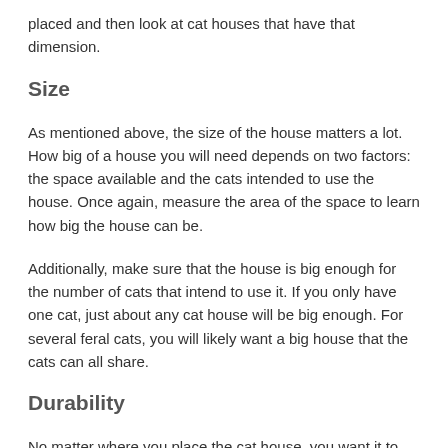placed and then look at cat houses that have that dimension.
Size
As mentioned above, the size of the house matters a lot. How big of a house you will need depends on two factors: the space available and the cats intended to use the house. Once again, measure the area of the space to learn how big the house can be.
Additionally, make sure that the house is big enough for the number of cats that intend to use it. If you only have one cat, just about any cat house will be big enough. For several feral cats, you will likely want a big house that the cats can all share.
Durability
No matter where you place the cat house, you want it to last